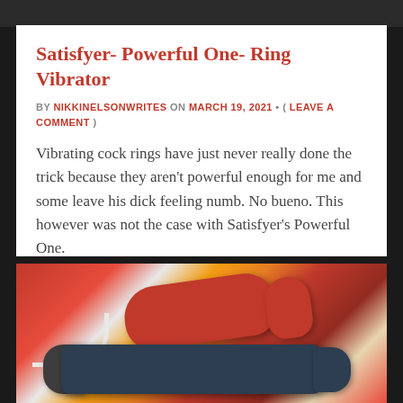[Figure (photo): Dark top image strip background]
Satisfyer- Powerful One- Ring Vibrator
BY NIKKINELSONWRITES ON MARCH 19, 2021 • ( LEAVE A COMMENT )
Vibrating cock rings have just never really done the trick because they aren't powerful enough for me and some leave his dick feeling numb. No bueno. This however was not the case with Satisfyer's Powerful One.
[Figure (photo): Photo of Satisfyer Powerful One ring vibrator - red vibrator and dark ring device on colorful splattered background]